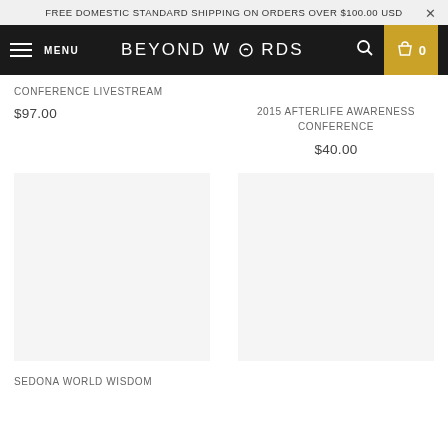FREE DOMESTIC STANDARD SHIPPING ON ORDERS OVER $100.00 USD
BEYOND WORDS MENU 0
CONFERENCE LIVESTREAM
$97.00
2015 AFTERLIFE AWARENESS CONFERENCE
$40.00
SEDONA WORLD WISDOM